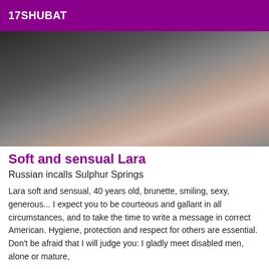17SHUBAT
[Figure (photo): Close-up photo of a woman wearing a dark lace bra]
Soft and sensual Lara
Russian incalls Sulphur Springs
Lara soft and sensual, 40 years old, brunette, smiling, sexy, generous... I expect you to be courteous and gallant in all circumstances, and to take the time to write a message in correct American. Hygiene, protection and respect for others are essential. Don't be afraid that I will judge you: I gladly meet disabled men, alone or mature,